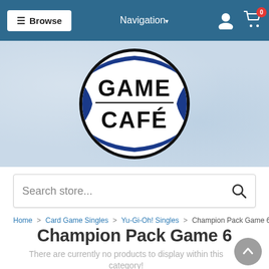☰ Browse   Navigation▾   [user icon]   [cart icon] 0
[Figure (logo): Game Café circular logo with blue and white design, bold text reading GAME CAFÉ inside a circle with decorative blue wave elements]
Search store...
Home > Card Game Singles > Yu-Gi-Oh! Singles > Champion Pack Game 6
Champion Pack Game 6
There are currently no products to display within this category!